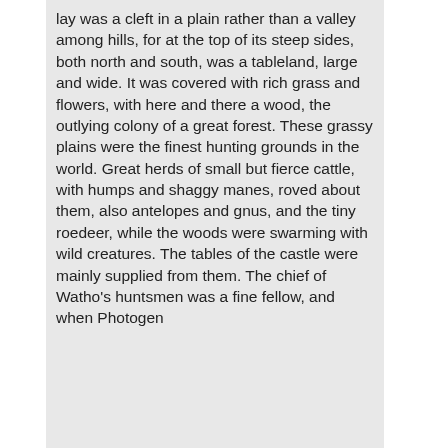lay was a cleft in a plain rather than a valley among hills, for at the top of its steep sides, both north and south, was a tableland, large and wide. It was covered with rich grass and flowers, with here and there a wood, the outlying colony of a great forest. These grassy plains were the finest hunting grounds in the world. Great herds of small but fierce cattle, with humps and shaggy manes, roved about them, also antelopes and gnus, and the tiny roedeer, while the woods were swarming with wild creatures. The tables of the castle were mainly supplied from them. The chief of Watho's huntsmen was a fine fellow, and when Photogen